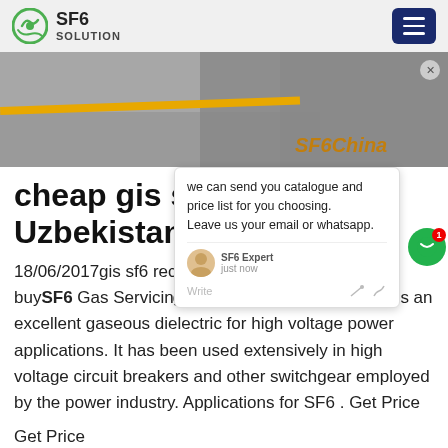SF6 SOLUTION
[Figure (photo): Hero image showing road surface with yellow line and SF6China watermark]
cheap gis sf6 reclaimer relay Uzbekistan
18/06/2017gis sf6 reclaimer relay reclaimer relay buySF6 Gas Servici t. Sulfur Hexafluoride (SF6) is an excellent gaseous dielectric for high voltage power applications. It has been used extensively in high voltage circuit breakers and other switchgear employed by the power industry. Applications for SF6 . Get Price
Get Price